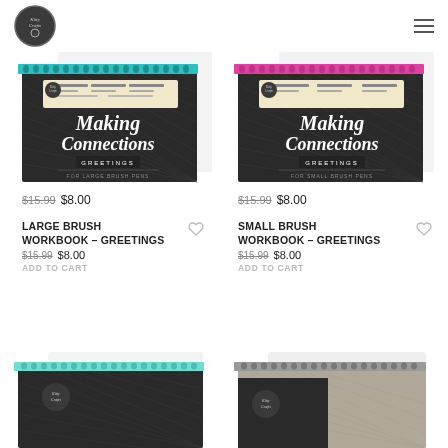Kitty Crafts logo and navigation menu
[Figure (photo): Large Brush Workbook - Greetings with teal spiral binding, dark cover reading 'Making Connections GREETINGS FOR LARGE BRUSH PENS']
$15.99 $8.00
[Figure (photo): Small Brush Workbook - Greetings with pink spiral binding, dark cover reading 'Making Connections GREETINGS FOR SMALL BRUSH PENS']
$15.99 $8.00
LARGE BRUSH WORKBOOK – GREETINGS
$15.99  $8.00
ADD TO CART
SMALL BRUSH WORKBOOK – GREETINGS
$15.99  $8.00
ADD TO CART
[Figure (photo): Partial view of a workbook with teal/mint spiral binding at bottom of page]
[Figure (photo): Partial view of a workbook with gray cover at bottom of page]